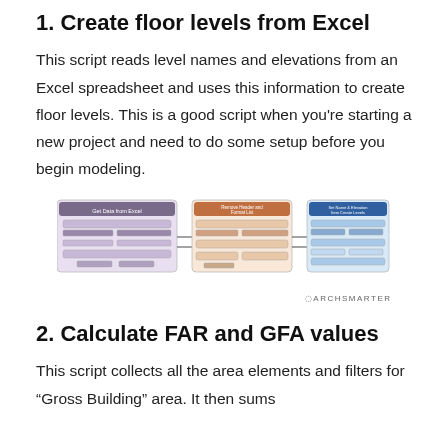1. Create floor levels from Excel
This script reads level names and elevations from an Excel spreadsheet and uses this information to create floor levels. This is a good script when you’re starting a new project and need to do some setup before you begin modeling.
[Figure (screenshot): A node graph showing three connected groups: 'Get Data from Excel' (purple/lavender), 'Remove Header and Format List' (orange/peach), and 'Set Name & Elevation Item Create Levels' (blue). The nodes are connected by lines showing data flow. ARCHSMARTER logo appears at bottom right.]
2. Calculate FAR and GFA values
This script collects all the area elements and filters for “Gross Building” area. It then sums